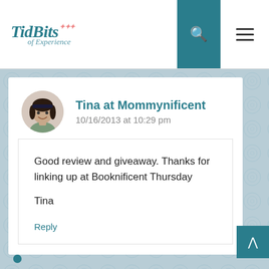TidBits of Experience
Tina at Mommynificent
10/16/2013 at 10:29 pm
Good review and giveaway. Thanks for linking up at Booknificent Thursday

Tina
Reply